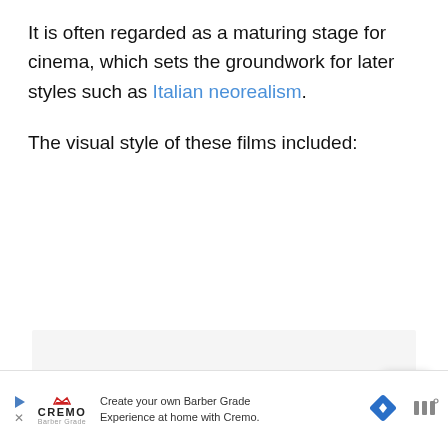It is often regarded as a maturing stage for cinema, which sets the groundwork for later styles such as Italian neorealism.
The visual style of these films included:
[Figure (other): Gray placeholder content area (advertisement or embedded content region)]
[Figure (other): Scroll-to-top button with upward chevron arrow, white rounded square button]
[Figure (other): Advertisement banner: Cremo brand logo with play icon and X close button, text reads 'Create your own Barber Grade Experience at home with Cremo.' with a blue diamond navigation arrow and triple-bar icon on the right.]